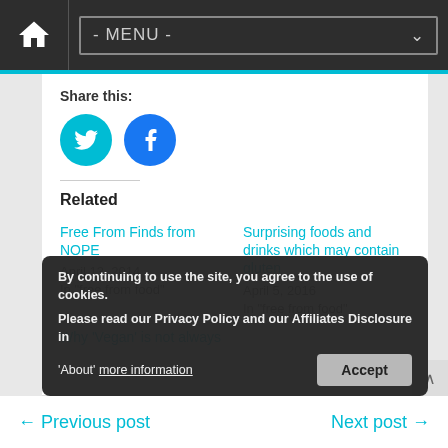- MENU -
Share this:
[Figure (illustration): Two circular social sharing buttons: Twitter (bird icon, teal/cyan background) and Facebook (f icon, blue background)]
Related
Free From Finds from NOPE
April 13, 2014
In "free from food"
Surprising foods and drinks which may contain gluten
April 5, 2016
In "free from food"
Why 'Vegan' is not always 'Dairy Free'
By continuing to use the site, you agree to the use of cookies.

Please read our Privacy Policy and our Affiliates Disclosure in

'About' more information
← Previous post     Next post →